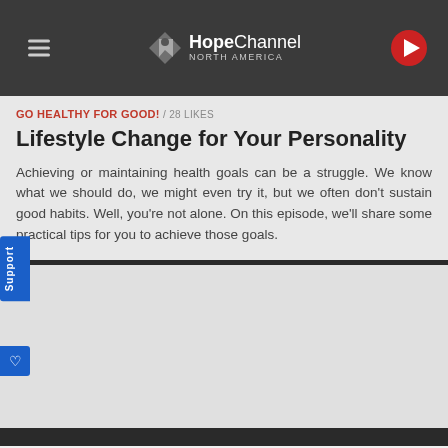[Figure (logo): Hope Channel North America logo with hamburger menu icon on left and play button on right, on dark gray header background]
GO HEALTHY FOR GOOD! / 28 LIKES
Lifestyle Change for Your Personality
Achieving or maintaining health goals can be a struggle. We know what we should do, we might even try it, but we often don't sustain good habits. Well, you're not alone. On this episode, we'll share some practical tips for you to achieve those goals.
[Figure (screenshot): Empty video player area, light gray background]
This website uses cookies to ensure you get the best experience...